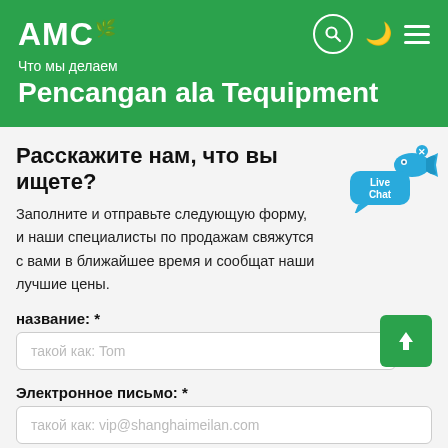АМС
Что мы делаем
Pencangan ala Tequipment
Расскажите нам, что вы ищете?
Заполните и отправьте следующую форму, и наши специалисты по продажам свяжутся с вами в ближайшее время и сообщат наши лучшие цены.
[Figure (illustration): Live Chat speech bubble with blue fish icon and close button]
название: *
такой как: Tom
Электронное письмо: *
такой как: vip@shanghaimeilan.com
Телефон: *